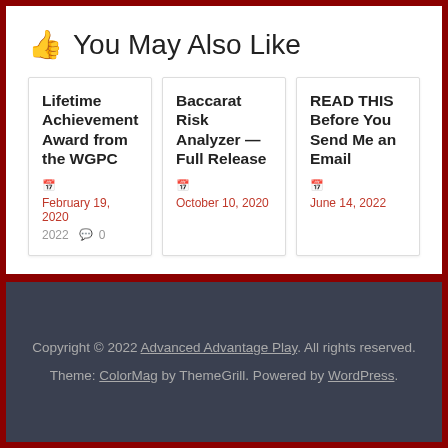👍 You May Also Like
Lifetime Achievement Award from the WGPC
February 19, 2022
0 comments
Baccarat Risk Analyzer — Full Release
October 10, 2020
READ THIS Before You Send Me an Email
June 14, 2022
Copyright © 2022 Advanced Advantage Play. All rights reserved.
Theme: ColorMag by ThemeGrill. Powered by WordPress.